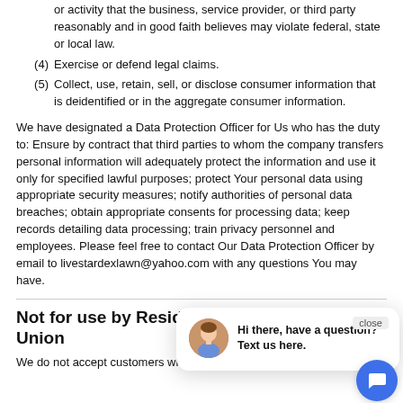or activity that the business, service provider, or third party reasonably and in good faith believes may violate federal, state or local law.
(4) Exercise or defend legal claims.
(5) Collect, use, retain, sell, or disclose consumer information that is deidentified or in the aggregate consumer information.
We have designated a Data Protection Officer for Us who has the duty to: Ensure by contract that third parties to whom the company transfers personal information will adequately protect the information and use it only for specified lawful purposes; protect Your personal data using appropriate security measures; notify authorities of personal data breaches; obtain appropriate consents for processing data; keep records detailing data processing; train privacy personnel and employees. Please feel free to contact Our Data Protection Officer by email to livestardexlawn@yahoo.com with any questions You may have.
Not for use by Residents of the European Union
We do not accept customers who are residents of the European